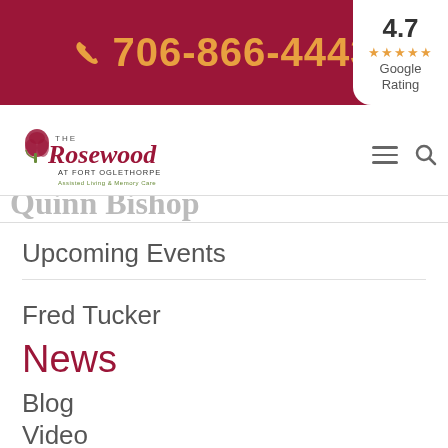706-866-4443
[Figure (logo): The Rosewood at Fort Oglethorpe - Assisted Living & Memory Care logo with rose emblem]
Upcoming Events
Fred Tucker
News
Blog
Video